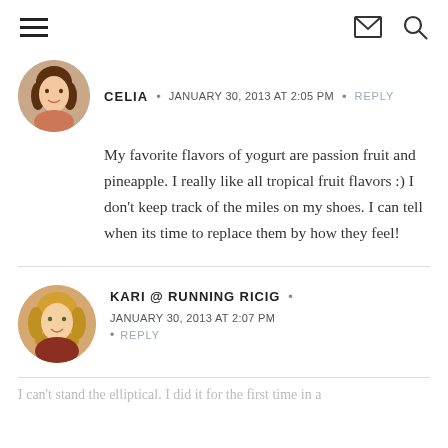Navigation bar with hamburger menu, mail icon, and search icon
CELIA • JANUARY 30, 2013 AT 2:05 PM • REPLY
My favorite flavors of yogurt are passion fruit and pineapple. I really like all tropical fruit flavors :) I don't keep track of the miles on my shoes. I can tell when its time to replace them by how they feel!
KARI @ RUNNING RICIG • JANUARY 30, 2013 AT 2:07 PM • REPLY
I can't stand the elliptical. I did it for the first time in a